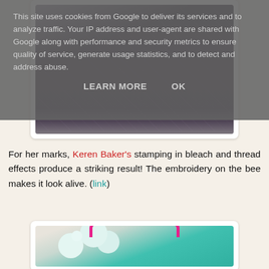[Figure (photo): Dark colored fabric/leather piece with stamped/embossed design on white textured fabric background, shown inside a white card frame]
This site uses cookies from Google to deliver its services and to analyze traffic. Your IP address and user-agent are shared with Google along with performance and security metrics to ensure quality of service, generate usage statistics, and to detect and address abuse.
LEARN MORE   OK
For her marks, Keren Baker's stamping in bleach and thread effects produce a striking result! The embroidery on the bee makes it look alive. (link)
[Figure (photo): Teal/turquoise embroidery hoop with spotted fabric, held with pink hoop frame, on a light wooden background]